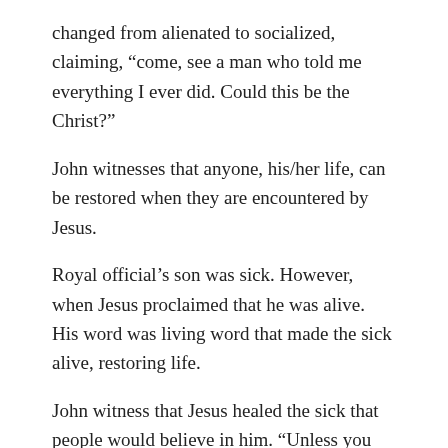changed from alienated to socialized, claiming, “come, see a man who told me everything I ever did. Could this be the Christ?”
John witnesses that anyone, his/her life, can be restored when they are encountered by Jesus.
Royal official’s son was sick. However, when Jesus proclaimed that he was alive. His word was living word that made the sick alive, restoring life.
John witness that Jesus healed the sick that people would believe in him. “Unless you people see miraculous signs and wonders,” Jesus told, “you will never believe.” (v.48). Jesus’ goal is  that  all who believe in him shall not perish (John 3:16)